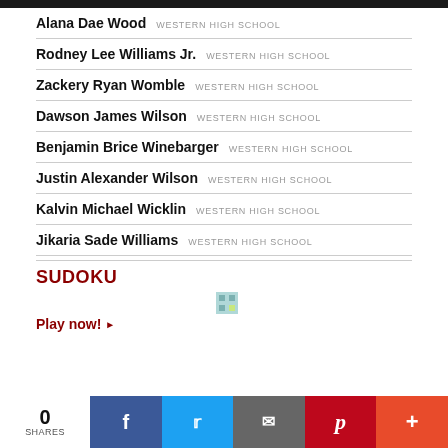Alana Dae Wood  WESTERN HIGH SCHOOL
Rodney Lee Williams Jr.  WESTERN HIGH SCHOOL
Zackery Ryan Womble  WESTERN HIGH SCHOOL
Dawson James Wilson  WESTERN HIGH SCHOOL
Benjamin Brice Winebarger  WESTERN HIGH SCHOOL
Justin Alexander Wilson  WESTERN HIGH SCHOOL
Kalvin Michael Wicklin  WESTERN HIGH SCHOOL
Jikaria Sade Williams  WESTERN HIGH SCHOOL
SUDOKU
Play now!
0 SHARES | Facebook | Twitter | Email | Pinterest | More